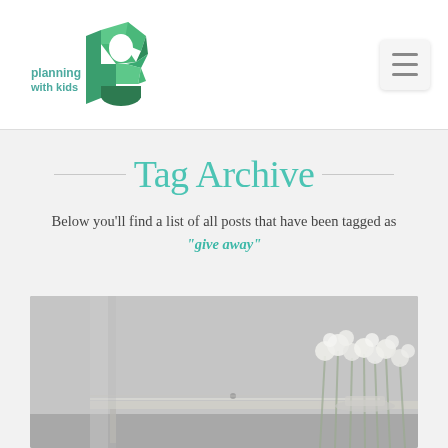[Figure (logo): Planning with Kids logo: green geometric 'P' shape with text 'planning with kids' in teal]
[Figure (illustration): Hamburger menu icon button (three horizontal lines) in top right corner]
Tag Archive
Below you'll find a list of all posts that have been tagged as "give away"
[Figure (photo): Grayscale photo of a room interior with white roses in a vase on a table]